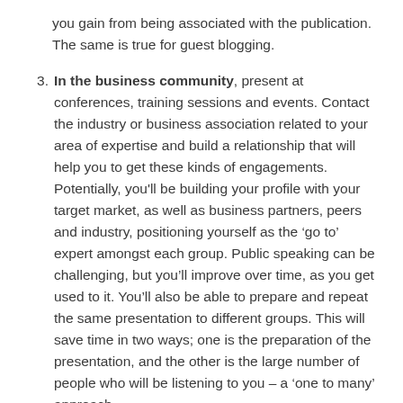you gain from being associated with the publication. The same is true for guest blogging.
In the business community, present at conferences, training sessions and events. Contact the industry or business association related to your area of expertise and build a relationship that will help you to get these kinds of engagements. Potentially, you'll be building your profile with your target market, as well as business partners, peers and industry, positioning yourself as the ‘go to’ expert amongst each group. Public speaking can be challenging, but you’ll improve over time, as you get used to it. You’ll also be able to prepare and repeat the same presentation to different groups. This will save time in two ways; one is the preparation of the presentation, and the other is the large number of people who will be listening to you – a ‘one to many’ approach.